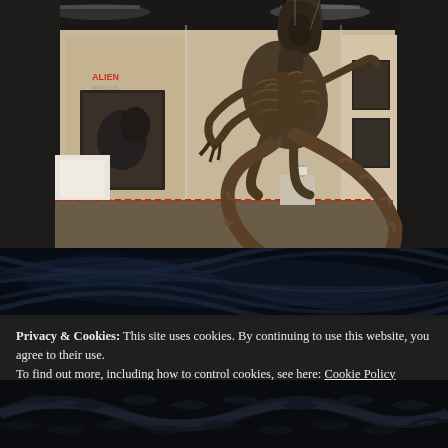[Figure (photo): Museum exhibition photo showing a large alien creature (Xenomorph) prop suspended in a glass display case. The creature is brown/bronze colored with a skeletal body and curved tail. Background shows gallery walls with framed artwork and photos.]
[Figure (photo): Close-up dark textured photo of alien creature surface with ribbed, mechanical-organic textures in dark blue-black tones.]
Privacy & Cookies: This site uses cookies. By continuing to use this website, you agree to their use.
To find out more, including how to control cookies, see here: Cookie Policy
[Figure (photo): Bottom partial photo showing dark alien/creature imagery with scales and textures visible.]